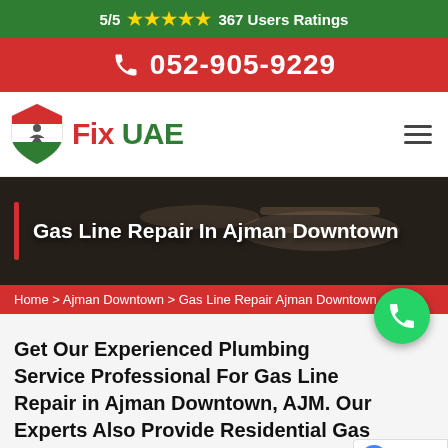5/5 ★★★★★ 367 Users Ratings
052-905-9229
[Figure (logo): Fix UAE logo with shield icon containing a handyman figure with UAE flag colors]
Gas Line Repair In Ajman Downtown
Home > Ajman Downtown > Gas Line Repair Ajman Downtown
Get Our Experienced Plumbing Service Professional For Gas Line Repair in Ajman Downtown, AJM. Our Experts Also Provide Residential Gas Line Repair, Propane Gas...